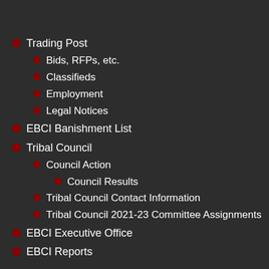Trading Post
Bids, RFPs, etc.
Classifieds
Employment
Legal Notices
EBCI Banishment List
Tribal Council
Council Action
Council Results
Tribal Council Contact Information
Tribal Council 2021-23 Committee Assignments
EBCI Executive Office
EBCI Reports